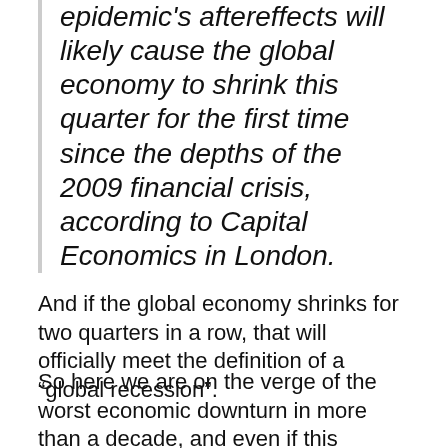epidemic's aftereffects will likely cause the global economy to shrink this quarter for the first time since the depths of the 2009 financial crisis, according to Capital Economics in London.
And if the global economy shrinks for two quarters in a row, that will officially meet the definition of a “global recession”.
So here we are on the verge of the worst economic downturn in more than a decade, and even if this outbreak miraculously ended tomorrow it would still take quite an extended period of time for global supply chains to return